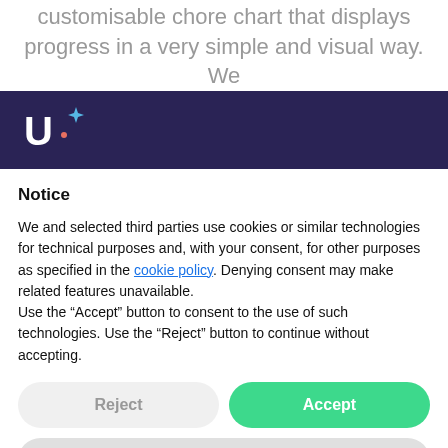customisable chore chart that displays progress in a very simple and visual way. We
[Figure (logo): White U logo with star/sparkle accent on dark navy background navigation bar]
Notice
We and selected third parties use cookies or similar technologies for technical purposes and, with your consent, for other purposes as specified in the cookie policy. Denying consent may make related features unavailable.
Use the “Accept” button to consent to the use of such technologies. Use the “Reject” button to continue without accepting.
Reject
Accept
Learn more and customize